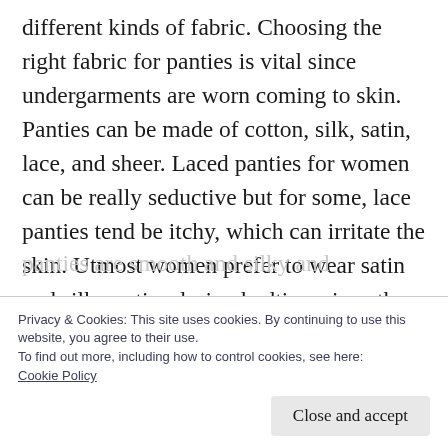different kinds of fabric. Choosing the right fabric for panties is vital since undergarments are worn coming to skin. Panties can be made of cotton, silk, satin, lace, and sheer. Laced panties for women can be really seductive but for some, lace panties tend be itchy, which can irritate the skin. Utmost women prefer to wear satin and silk panties during bedtime since these fabrics aren't able of absorbing body sweat unlike cotton. Satin and silk
Privacy & Cookies: This site uses cookies. By continuing to use this website, you agree to their use.
To find out more, including how to control cookies, see here:
Cookie Policy
Close and accept